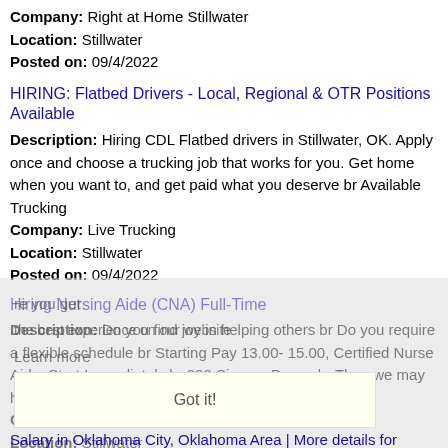Company: Right at Home Stillwater
Location: Stillwater
Posted on: 09/4/2022
HIRING: Flatbed Drivers - Local, Regional & OTR Positions Available
Description: Hiring CDL Flatbed drivers in Stillwater, OK. Apply once and choose a trucking job that works for you. Get home when you want to, and get paid what you deserve br Available Trucking
Company: Live Trucking
Location: Stillwater
Posted on: 09/4/2022
Hiring Nursing Aide (CNA) Full-Time
Description: Do you find joy in helping others br Do you require a flexible schedule br Starting Pay 13.00- 15.00, Certified Nurse Aide, Start Immediately br 200 Sign on Bonus br Then we may have the (more...)
Company: Right at Home
Location: Stillwater
Posted on: 09/4/2022
Salary in Oklahoma City, Oklahoma Area | More details for